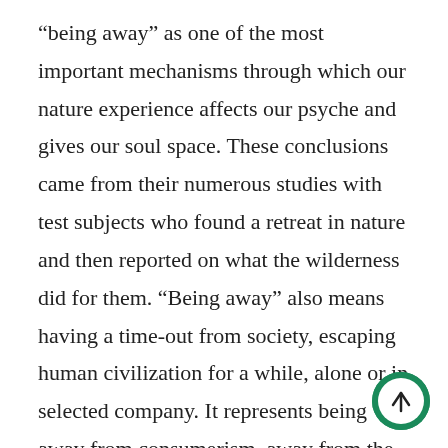“being away” as one of the most important mechanisms through which our nature experience affects our psyche and gives our soul space. These conclusions came from their numerous studies with test subjects who found a retreat in nature and then reported on what the wilderness did for them. “Being away” also means having a time-out from society, escaping human civilization for a while, alone or in selected company. It represents being away from consumerism, away from the digital world, away from the expectations of others, away from the performance pressure and the corset into which modern life often squeezes us. It signifies being far away from a world in which we must constantly fit a certain image and in which we are fed what it means to be a “good” person, a “well-